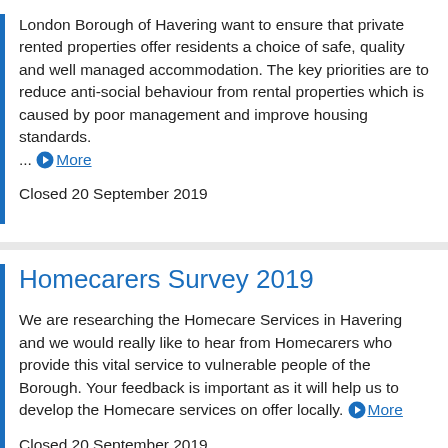London Borough of Havering want to ensure that private rented properties offer residents a choice of safe, quality and well managed accommodation. The key priorities are to reduce anti-social behaviour from rental properties which is caused by poor management and improve housing standards. ... More
Closed 20 September 2019
Homecarers Survey 2019
We are researching the Homecare Services in Havering and we would really like to hear from Homecarers who provide this vital service to vulnerable people of the Borough. Your feedback is important as it will help us to develop the Homecare services on offer locally. More
Closed 20 September 2019